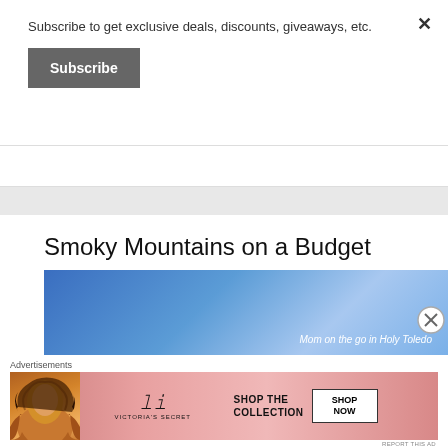Subscribe to get exclusive deals, discounts, giveaways, etc.
Subscribe
Smoky Mountains on a Budget
[Figure (photo): Blue sky/gradient background image with italic text 'Mom on the go in Holy Toledo' in white at bottom right]
Advertisements
[Figure (infographic): Victoria's Secret advertisement showing a woman with curly hair on the left, VS logo in center, and 'SHOP THE COLLECTION' text with 'SHOP NOW' button on the right on a pink background]